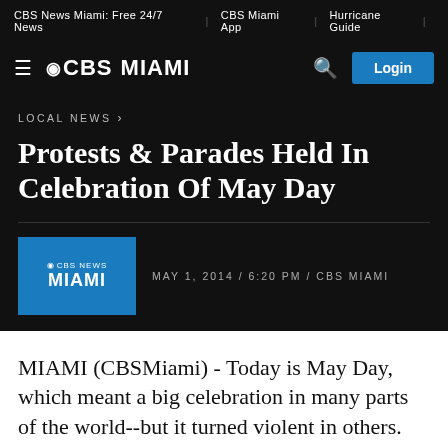CBS News Miami: Free 24/7 News | CBS Miami App | Hurricane Guide
CBS MIAMI
LOCAL NEWS
Protests & Parades Held In Celebration Of May Day
MAY 1, 2014 / 6:20 PM / CBS MIAMI
MIAMI (CBSMiami) - Today is May Day, which meant a big celebration in many parts of the world--but it turned violent in others.